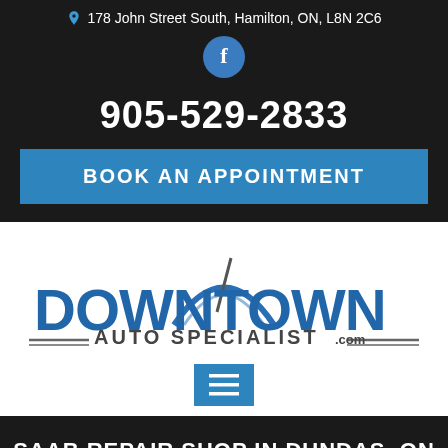178 John Street South, Hamilton, ON, L8N 2C6
[Figure (logo): Facebook circular icon with white 'f' on teal/blue background]
905-529-2833
BOOK AN APPOINTMENT
[Figure (logo): Downtown Auto Specialist .com logo with blue lettering and arc graphic above]
[Figure (other): Hamburger menu icon (three horizontal lines) in a blue square button]
SAAB REPAIR SHOP IN DUNDAS, ON